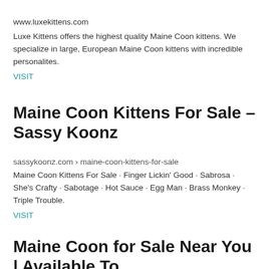www.luxekittens.com
Luxe Kittens offers the highest quality Maine Coon kittens. We specialize in large, European Maine Coon kittens with incredible personalites.
VISIT
Maine Coon Kittens For Sale – Sassy Koonz
sassykoonz.com › maine-coon-kittens-for-sale
Maine Coon Kittens For Sale · Finger Lickin' Good · Sabrosa · She's Crafty · Sabotage · Hot Sauce · Egg Man · Brass Monkey · Triple Trouble.
VISIT
Maine Coon for Sale Near You | Available To...